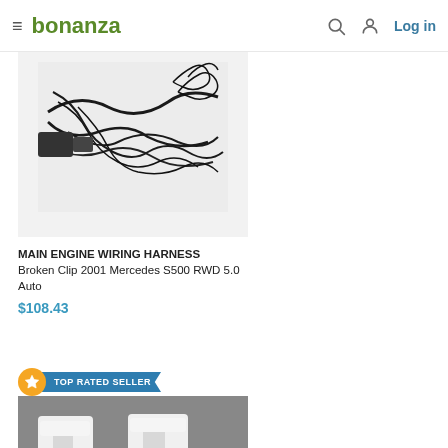bonanza — Log in
[Figure (photo): Product photo of a main engine wiring harness with tangled black wires on a white background]
MAIN ENGINE WIRING HARNESS Broken Clip 2001 Mercedes S500 RWD 5.0 Auto
$108.43
[Figure (photo): TOP RATED SELLER badge with star icon and blue ribbon. Product photo of two white plastic clips/brackets on a gray background]